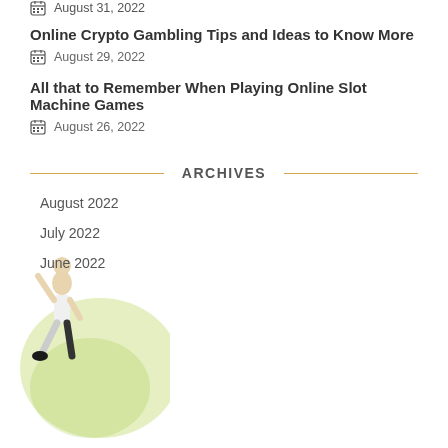Online Crypto Gambling Tips and Ideas to Know More
August 29, 2022
All that to Remember When Playing Online Slot Machine Games
August 26, 2022
ARCHIVES
August 2022
July 2022
June 2022